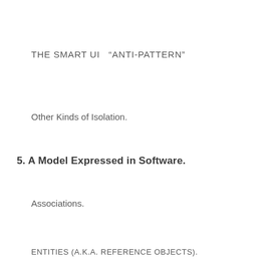THE SMART UI  “ANTI-PATTERN”
Other Kinds of Isolation.
5. A Model Expressed in Software.
Associations.
ENTITIES (A.K.A. REFERENCE OBJECTS).